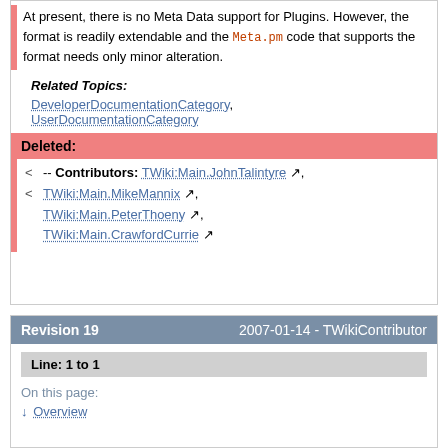At present, there is no Meta Data support for Plugins. However, the format is readily extendable and the Meta.pm code that supports the format needs only minor alteration.
Related Topics:
DeveloperDocumentationCategory, UserDocumentationCategory
Deleted:
< -- Contributors: TWiki:Main.JohnTalintyre, TWiki:Main.MikeMannix, TWiki:Main.PeterThoeny, TWiki:Main.CrawfordCurrie
Revision 19    2007-01-14 - TWikiContributor
Line: 1 to 1
On this page:
↓ Overview